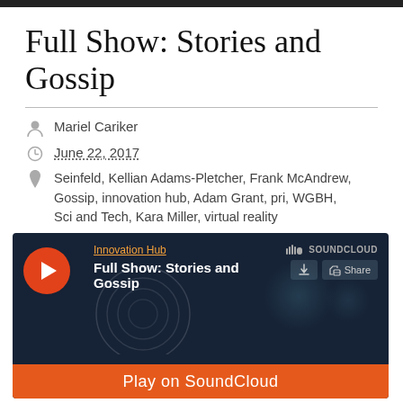Full Show: Stories and Gossip
Mariel Cariker
June 22, 2017
Seinfeld, Kellian Adams-Pletcher, Frank McAndrew, Gossip, innovation hub, Adam Grant, pri, WGBH, Sci and Tech, Kara Miller, virtual reality
[Figure (screenshot): SoundCloud embedded player for 'Full Show: Stories and Gossip' by Innovation Hub, showing play button, track title, SoundCloud branding, share button, waveform area, and orange Play on SoundCloud bar at bottom.]